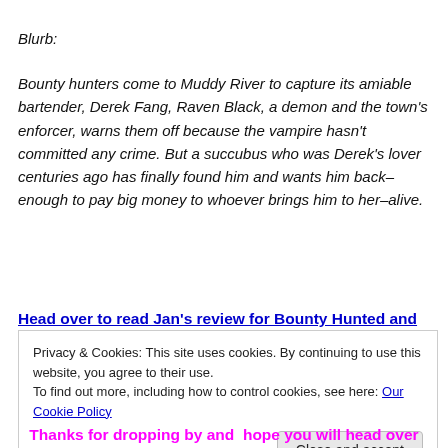Blurb:
Bounty hunters come to Muddy River to capture its amiable bartender, Derek Fang, Raven Black, a demon and the town's enforcer, warns them off because the vampire hasn't committed any crime. But a succubus who was Derek's lover centuries ago has finally found him and wants him back–enough to pay big money to whoever brings him to her–alive.
Head over to read Jan's review for Bounty Hunted and
Privacy & Cookies: This site uses cookies. By continuing to use this website, you agree to their use. To find out more, including how to control cookies, see here: Our Cookie Policy
Thanks for dropping by and  hope you will head over